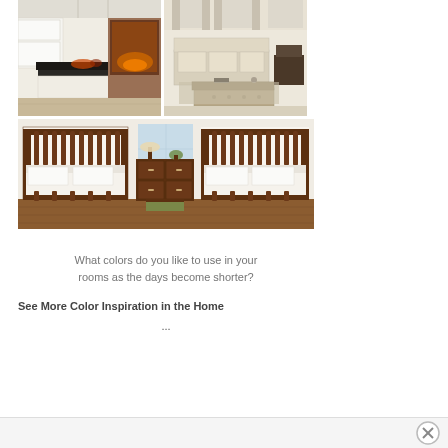[Figure (photo): Grid of three interior design photos: top-left shows a kitchen with white cabinets and dark countertop with fireplace; top-right shows a living room with neutral sofas and tufted bench; bottom shows a bedroom with two twin beds with dark wood spindle headboards and footboards separated by a dresser]
What colors do you like to use in your rooms as the days become shorter?
See More Color Inspiration in the Home
...